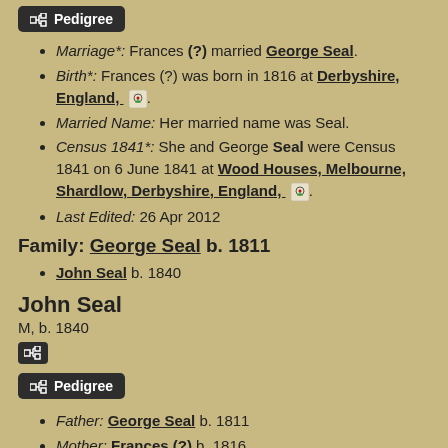[Figure (other): Pedigree button icon with dark background]
Marriage*: Frances (?) married George Seal.
Birth*: Frances (?) was born in 1816 at Derbyshire, England, [map icon].
Married Name: Her married name was Seal.
Census 1841*: She and George Seal were Census 1841 on 6 June 1841 at Wood Houses, Melbourne, Shardlow, Derbyshire, England, [map icon].
Last Edited: 26 Apr 2012
Family: George Seal b. 1811
John Seal b. 1840
John Seal
M, b. 1840
[Figure (other): Small pedigree chart icon button]
[Figure (other): Pedigree button with label]
Father: George Seal b. 1811
Mother: Frances (?) b. 1816